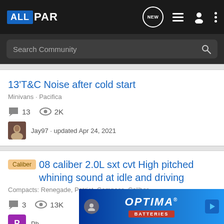ALLPAR — navigation bar with logo, NEW button, list icon, user icon, more icon
Search Community
13'T&C Noise after cold start
Minivans · Pacifica
💬 13   👁 2K
Jay97 · updated Apr 24, 2021
Caliber 08 caliber 2.0L sxt cvt High pitched whining sound at idle and driving
Compacts: Renegade, Patriot, Compass, Caliber
💬 3   👁 13K
Ph...
[Figure (screenshot): OPTIMA BATTERIES advertisement banner at the bottom]